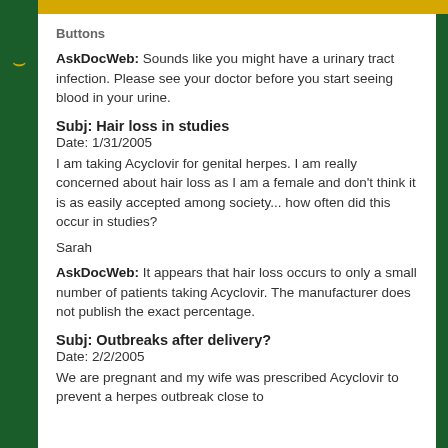Buttons
AskDocWeb: Sounds like you might have a urinary tract infection. Please see your doctor before you start seeing blood in your urine.
Subj: Hair loss in studies
Date: 1/31/2005
I am taking Acyclovir for genital herpes. I am really concerned about hair loss as I am a female and don't think it is as easily accepted among society... how often did this occur in studies?
Sarah
AskDocWeb: It appears that hair loss occurs to only a small number of patients taking Acyclovir. The manufacturer does not publish the exact percentage.
Subj: Outbreaks after delivery?
Date: 2/2/2005
We are pregnant and my wife was prescribed Acyclovir to prevent a herpes outbreak close to